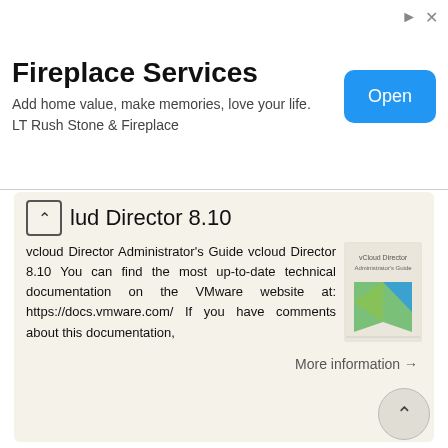[Figure (other): Advertisement banner for Fireplace Services by LT Rush Stone & Fireplace with an Open button]
vCloud Director 8.10
vcloud Director Administrator's Guide vcloud Director 8.10 You can find the most up-to-date technical documentation on the VMware website at: https://docs.vmware.com/ If you have comments about this documentation,
More information →
vsphere Security VMware vsphere 6.5 VMware ESXi 6.5 vcenter Server 6.5 EN
VMware vsphere 6.5 VMware ESXi 6.5 vcenter Server 6.5 This document supports the version of each product listed and supports all subsequent versions until the